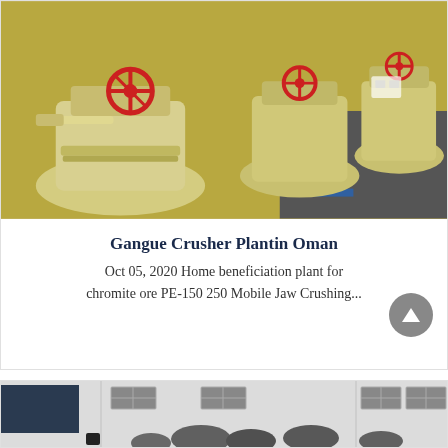[Figure (photo): Industrial crushing machines/cone crushers in a row, yellow/cream colored, with red valve wheels on top, on a factory floor]
Gangue Crusher Plantin Oman
Oct 05, 2020 Home beneficiation plant for chromite ore PE-150 250 Mobile Jaw Crushing...
[Figure (photo): Black and white photo of a multi-story industrial building exterior with windows and trees in front]